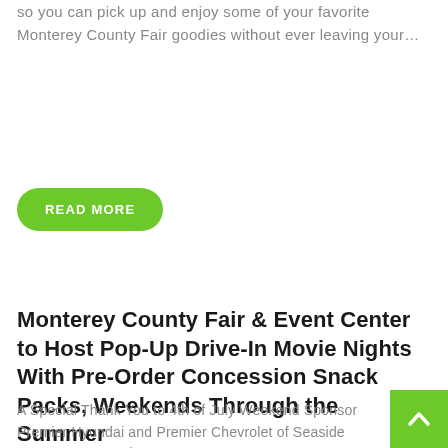so you can pick up and enjoy some of your favorite Monterey County Fair goodies without ever leaving your…
READ MORE
Monterey County Fair & Event Center to Host Pop-Up Drive-In Movie Nights With Pre-Order Concession Snack Packs, Weekends Through the Summer
A Special Thank You to 4th of July Weekend Sponsor Premier Hyundai and Premier Chevrolet of Seaside MONTEREY, CA (June